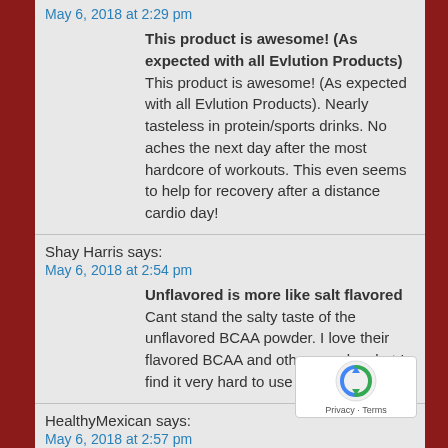May 6, 2018 at 2:29 pm
This product is awesome! (As expected with all Evlution Products) This product is awesome! (As expected with all Evlution Products). Nearly tasteless in protein/sports drinks. No aches the next day after the most hardcore of workouts. This even seems to help for recovery after a distance cardio day!
Shay Harris says:
May 6, 2018 at 2:54 pm
Unflavored is more like salt flavored Cant stand the salty taste of the unflavored BCAA powder. I love their flavored BCAA and other powders but I find it very hard to use this.
HealthyMexican says:
May 6, 2018 at 2:57 pm
Highly recommend Good BCAA overall with no complaints. Ratios all good without any fillers. Some people complain about the taste – the are hyper sens because it is not bad at all. Theres a slight bitter taste that